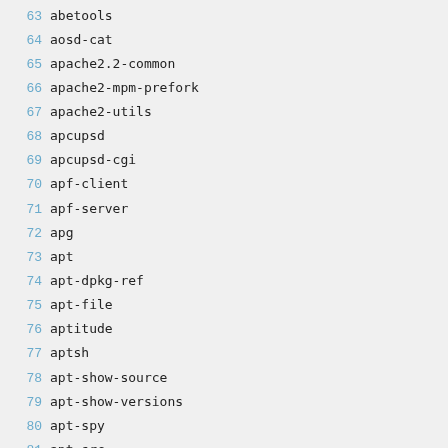63 abetools
64 aosd-cat
65 apache2.2-common
66 apache2-mpm-prefork
67 apache2-utils
68 apcupsd
69 apcupsd-cgi
70 apf-client
71 apf-server
72 apg
73 apt
74 apt-dpkg-ref
75 apt-file
76 aptitude
77 aptsh
78 apt-show-source
79 apt-show-versions
80 apt-spy
81 apt-src
82 apt-transport-https
83 apt-utils
84 apt-zip
85 apwal
86 ara
87 argus-client
88 arj
89 arp-scan